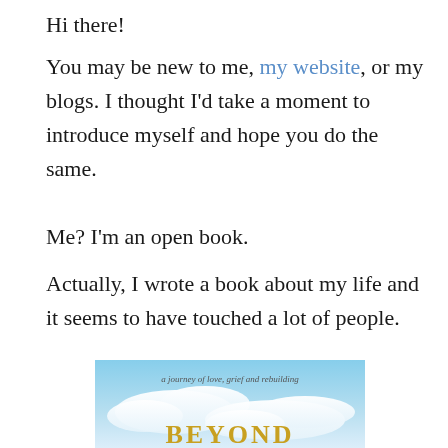Hi there!
You may be new to me, my website, or my blogs. I thought I'd take a moment to introduce myself and hope you do the same.
Me? I'm an open book.
Actually, I wrote a book about my life and it seems to have touched a lot of people.
[Figure (illustration): Book cover image showing a sky with clouds, italic subtitle text 'a journey of love, grief and rebuilding', and the beginning of the title word 'BEYOND' in gold serif letters at the bottom]